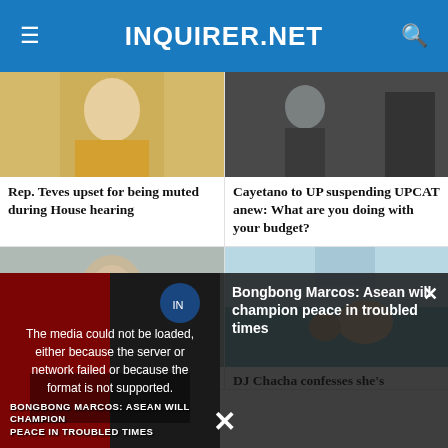INQUIRER.NET
[Figure (photo): Rep. Teves in barong tagalog]
Rep. Teves upset for being muted during House hearing
[Figure (photo): Cayetano at a formal event]
Cayetano to UP suspending UPCAT anew: What are you doing with your budget?
[Figure (photo): Markus Paterson portrait photo]
Markus Paterson on
[Figure (photo): DJ Chacha with child in water]
DJ Chacha confesses she's
[Figure (screenshot): Video overlay: Bongbong Marcos ASEAN will champion peace in troubled times. Error message: The media could not be loaded, either because the server or network failed or because the format is not supported.]
Bongbong Marcos: Asean will champion peace in troubled times
The media could not be loaded, either because the server or network failed or because the format is not supported.